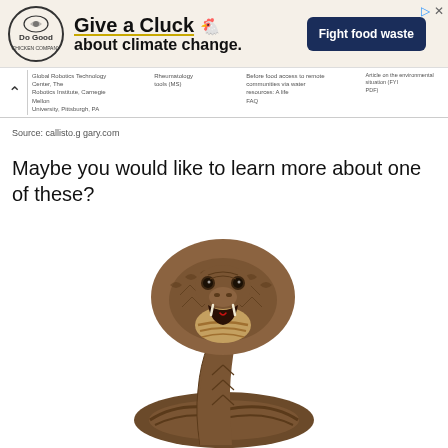[Figure (screenshot): Advertisement banner for 'Do Good' campaign: 'Give a Cluck about climate change. Fight food waste']
[Figure (screenshot): Browser navigation bar with back button and small text navigation links]
Source: callisto.ggary.com
Maybe you would like to learn more about one of these?
[Figure (photo): A cobra snake with hood spread, facing the camera, on a white background]